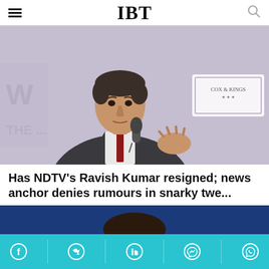IBT
[Figure (photo): Man in dark suit holding microphone at a conference, with Cox & Kings banner in background]
Has NDTV's Ravish Kumar resigned; news anchor denies rumours in snarky twe...
[Figure (photo): Second article story image - close up of a person's forehead/top of head against blue background]
[Figure (infographic): Social media share bar with Facebook, Twitter, LinkedIn, Messenger, WhatsApp icons on teal background]